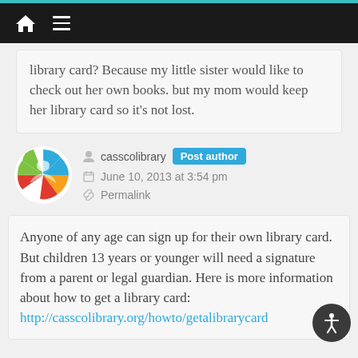Navigation bar with home and menu icons
library card? Because my little sister would like to check out her own books. but my mom would keep her library card so it's not lost.
casscolibrary  Post author
June 10, 2013 at 3:54 pm
Permalink
Anyone of any age can sign up for their own library card. But children 13 years or younger will need a signature from a parent or legal guardian. Here is more information about how to get a library card: http://casscolibrary.org/howto/getalibrarycard